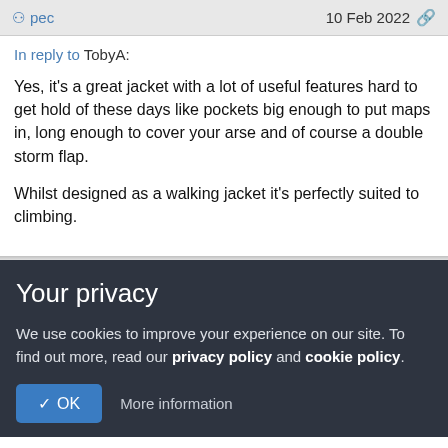pec   10 Feb 2022
In reply to TobyA:
Yes, it's a great jacket with a lot of useful features hard to get hold of these days like pockets big enough to put maps in, long enough to cover your arse and of course a double storm flap.
Whilst designed as a walking jacket it's perfectly suited to climbing.
Your privacy
We use cookies to improve your experience on our site. To find out more, read our privacy policy and cookie policy.
✓ OK   More information